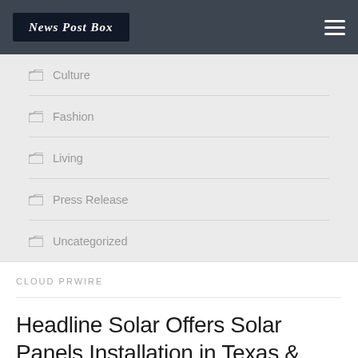News Post Box
Culture
Fashion
Living
Press Release
Uncategorized
CLOUD PRWIRE
Headline Solar Offers Solar Panels Installation in Texas & Illinois